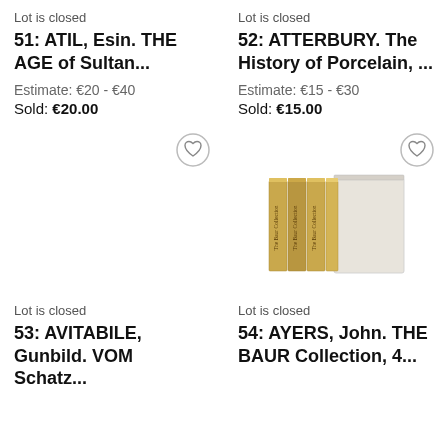Lot is closed
51: ATIL, Esin. THE AGE of Sultan...
Estimate: €20 - €40
Sold: €20.00
Lot is closed
52: ATTERBURY. The History of Porcelain, ...
Estimate: €15 - €30
Sold: €15.00
[Figure (other): Heart/favorite icon button (circle with heart outline), no book image for lot 53]
[Figure (photo): Set of books in a slipcase - The Baur Collection, 4 volumes with gold spines in a white/cream slipcase]
Lot is closed
53: AVITABILE, Gunbild. VOM Schatz...
Lot is closed
54: AYERS, John. THE BAUR Collection, 4...